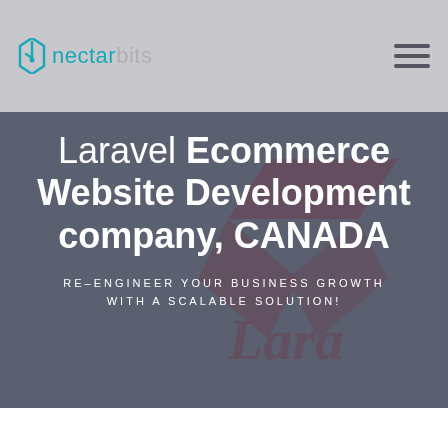nectarbits
Laravel Ecommerce Website Development company, CANADA
RE-ENGINEER YOUR BUSINESS GROWTH WITH A SCALABLE SOLUTION!
[Figure (logo): Laravel logo watermark in dark red in background of hero section]